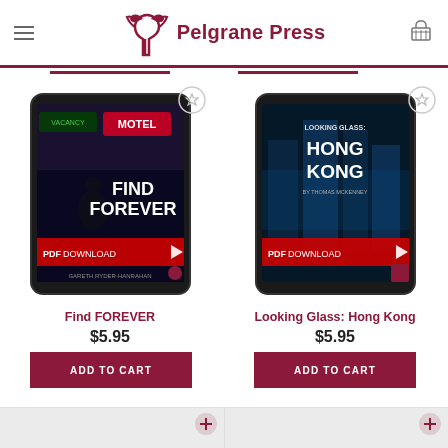Pelgrane Press
[Figure (screenshot): Tablet device showing book cover for 'Find FOREVER' with PDF DOWNLOAD label — motel/neon aesthetic]
Find FOREVER
$5.95
ADD TO CART
[Figure (screenshot): Tablet device showing book cover for 'Looking Glass: Hong Kong' with PDF DOWNLOAD label — cityscape aesthetic]
Looking Glass: Hong Kong
$5.95
ADD TO CART